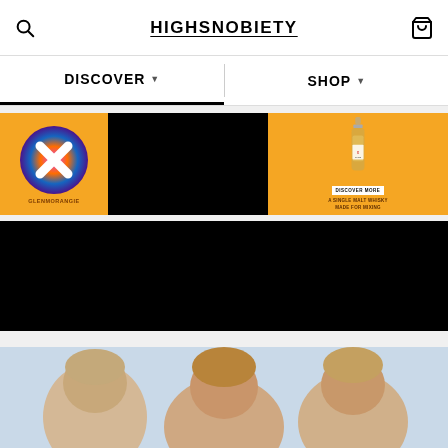HIGHSNOBIETY
DISCOVER
SHOP
[Figure (photo): Glenmorangie X advertisement banner with orange background showing brand logo with X mark on left, black video/image block in center, and whisky bottle with 'DISCOVER MORE' button and 'A SINGLE MALT WHISKY MADE FOR MIXING' tagline on the right]
[Figure (photo): Black rectangular block, likely a video player or image area]
[Figure (photo): Photo of three people with light-colored hair, visible from shoulders up, outdoors]